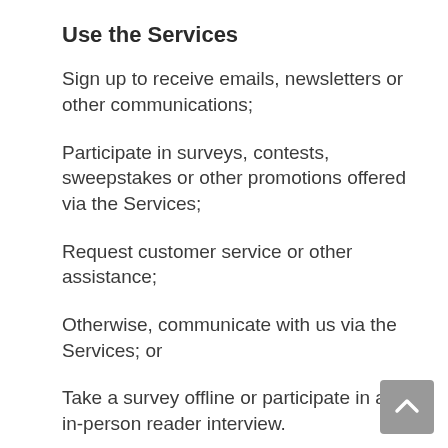Use the Services
Sign up to receive emails, newsletters or other communications;
Participate in surveys, contests, sweepstakes or other promotions offered via the Services;
Request customer service or other assistance;
Otherwise, communicate with us via the Services; or
Take a survey offline or participate in an in-person reader interview.